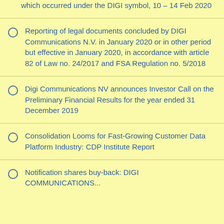which occurred under the DIGI symbol, 10 – 14 Feb 2020
Reporting of legal documents concluded by DIGI Communications N.V. in January 2020 or in other period but effective in January 2020, in accordance with article 82 of Law no. 24/2017 and FSA Regulation no. 5/2018
Digi Communications NV announces Investor Call on the Preliminary Financial Results for the year ended 31 December 2019
Consolidation Looms for Fast-Growing Customer Data Platform Industry: CDP Institute Report
Notification shares buy-back: DIGI COMMUNICATIONS...